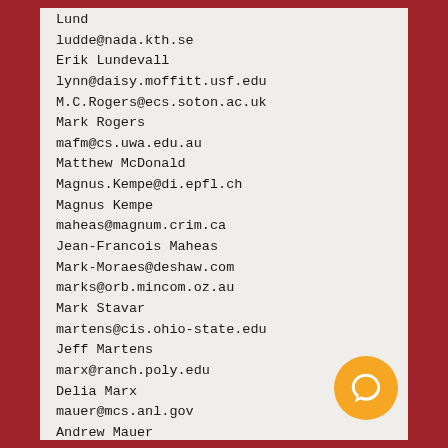Lund
ludde@nada.kth.se
Erik Lundevall
lynn@daisy.moffitt.usf.edu
M.C.Rogers@ecs.soton.ac.uk
Mark Rogers
mafm@cs.uwa.edu.au
Matthew McDonald
Magnus.Kempe@di.epfl.ch
Magnus Kempe
maheas@magnum.crim.ca
Jean-Francois Maheas
Mark-Moraes@deshaw.com
marks@orb.mincom.oz.au
Mark Stavar
martens@cis.ohio-state.edu
Jeff Martens
marx@ranch.poly.edu
Delia Marx
mauer@mcs.anl.gov
Andrew Mauer